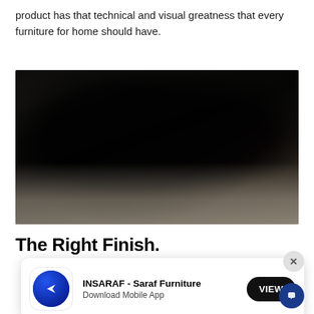product has that technical and visual greatness that every furniture for home should have.
[Figure (photo): Dark silhouette of a person spray painting or working on a surface, outdoor industrial setting with light ground and dark background]
The Right Finish.
[Figure (screenshot): App download banner for INSARAF - Saraf Furniture with blue circular logo, VIEW button in black pill shape, and a close X button]